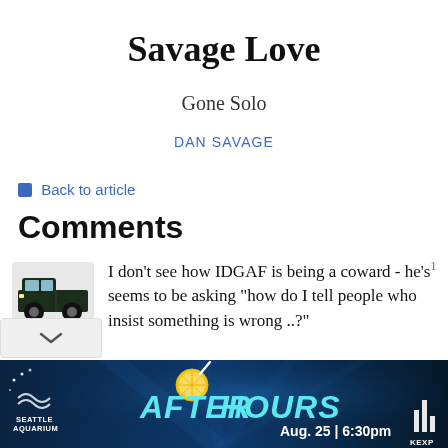Savage Love
Gone Solo
DAN SAVAGE
← Back to article
Comments
I don't see how IDGAF is being a coward - he's1 seems to be asking "how do I tell people who insist something is wrong ..?"
[Figure (photo): Advertisement banner for Seattle Aquarium After Hours event, Aug. 25 | 6:30pm]